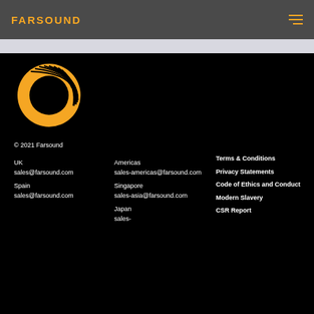FARSOUND
[Figure (logo): Farsound orange circular logo mark on black background]
© 2021 Farsound
UK
sales@farsound.com
Spain
sales@farsound.com
Americas
sales-americas@farsound.com
Singapore
sales-asia@farsound.com
Japan
sales-
Terms & Conditions
Privacy Statements
Code of Ethics and Conduct
Modern Slavery
CSR Report